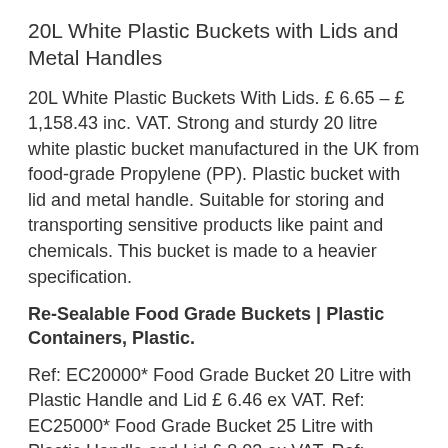20L White Plastic Buckets with Lids and Metal Handles
20L White Plastic Buckets With Lids. £ 6.65 – £ 1,158.43 inc. VAT. Strong and sturdy 20 litre white plastic bucket manufactured in the UK from food-grade Propylene (PP). Plastic bucket with lid and metal handle. Suitable for storing and transporting sensitive products like paint and chemicals. This bucket is made to a heavier specification.
Re-Sealable Food Grade Buckets | Plastic Containers, Plastic.
Ref: EC20000* Food Grade Bucket 20 Litre with Plastic Handle and Lid £ 6.46 ex VAT. Ref: EC25000* Food Grade Bucket 25 Litre with Plastic Handle and Lid £ 8.03 ex VAT. Ref: EC33000* Food Grade Bucket 33 Litre with Metal Handle and Plastic Lid £ 9.95 e